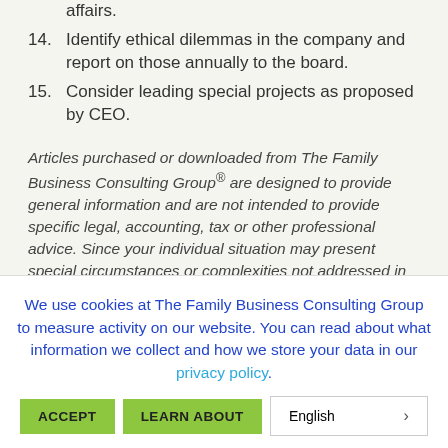appropriately represented in community affairs.
14. Identify ethical dilemmas in the company and report on those annually to the board.
15. Consider leading special projects as proposed by CEO.
Articles purchased or downloaded from The Family Business Consulting Group® are designed to provide general information and are not intended to provide specific legal, accounting, tax or other professional advice. Since your individual situation may present special circumstances or complexities not addressed in this article and laws and
We use cookies at The Family Business Consulting Group to measure activity on our website. You can read about what information we collect and how we store your data in our privacy policy.
ACCEPT   LEARN ABOUT   English >